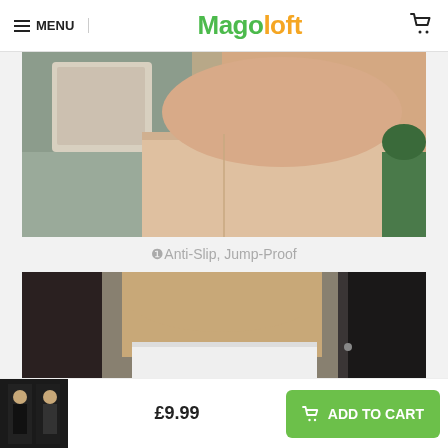MENU | Magoloft | Cart
[Figure (photo): Close-up photo of a woman wearing a nude/beige strapless bra, side view, with a grey sofa and decorative pillow in the background.]
❶Anti-Slip, Jump-Proof
[Figure (photo): Photo of a woman wearing a white strapless tube bra/bandeau, partial torso view, with a door visible in the background.]
£9.99
ADD TO CART